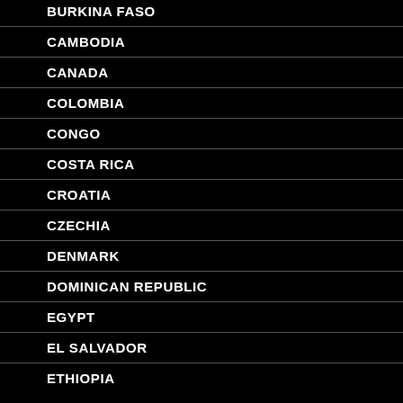BURKINA FASO
CAMBODIA
CANADA
COLOMBIA
CONGO
COSTA RICA
CROATIA
CZECHIA
DENMARK
DOMINICAN REPUBLIC
EGYPT
EL SALVADOR
ETHIOPIA